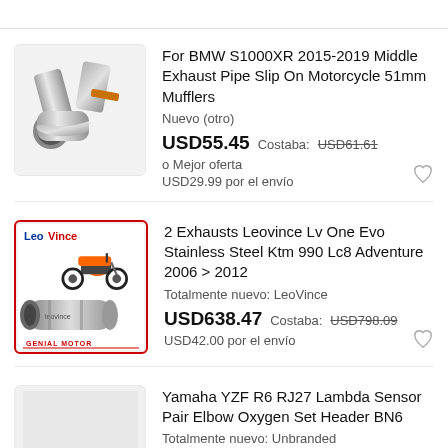[Figure (photo): Stainless steel motorcycle exhaust middle pipe, curved elbow shape, slip-on type]
For BMW S1000XR 2015-2019 Middle Exhaust Pipe Slip On Motorcycle 51mm Mufflers
Nuevo (otro)
USD55.45  Costaba: USD61.61
o Mejor oferta
USD29.99 por el envío
[Figure (photo): LeoVince branded product image showing KTM adventure motorcycle and exhaust muffler with GENIAL MOTOR branding]
2 Exhausts Leovince Lv One Evo Stainless Steel Ktm 990 Lc8 Adventure 2006 > 2012
Totalmente nuevo: LeoVince
USD638.47  Costaba: USD798.09
USD42.00 por el envío
[Figure (photo): Thumbnail image for Yamaha YZF R6 product listing, light grey background]
Yamaha YZF R6 RJ27 Lambda Sensor Pair Elbow Oxygen Set Header BN6
Totalmente nuevo: Unbranded